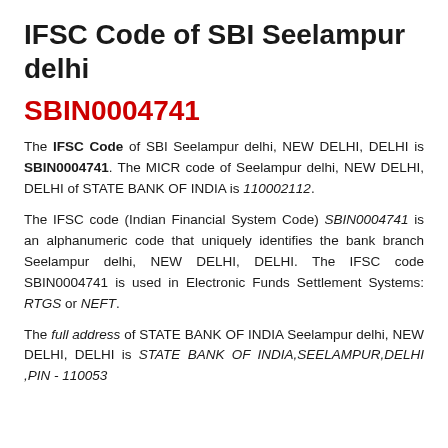IFSC Code of SBI Seelampur delhi
SBIN0004741
The IFSC Code of SBI Seelampur delhi, NEW DELHI, DELHI is SBIN0004741. The MICR code of Seelampur delhi, NEW DELHI, DELHI of STATE BANK OF INDIA is 110002112.
The IFSC code (Indian Financial System Code) SBIN0004741 is an alphanumeric code that uniquely identifies the bank branch Seelampur delhi, NEW DELHI, DELHI. The IFSC code SBIN0004741 is used in Electronic Funds Settlement Systems: RTGS or NEFT.
The full address of STATE BANK OF INDIA Seelampur delhi, NEW DELHI, DELHI is STATE BANK OF INDIA,SEELAMPUR,DELHI ,PIN - 110053